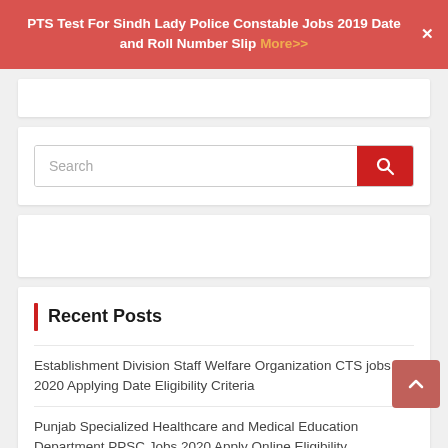PTS Test For Sindh Lady Police Constable Jobs 2019 Date and Roll Number Slip More>>
[Figure (screenshot): Search bar with red search button and magnifying glass icon]
[Figure (screenshot): Empty white card placeholder area]
Recent Posts
Establishment Division Staff Welfare Organization CTS jobs 2020 Applying Date Eligibility Criteria
Punjab Specialized Healthcare and Medical Education Department PPSC Jobs 2020 Apply Online Eligibility